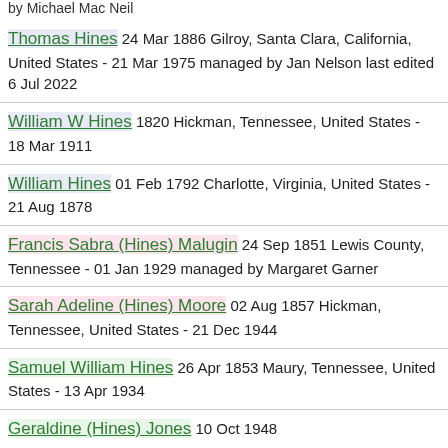by Michael Mac Neil
Thomas Hines 24 Mar 1886 Gilroy, Santa Clara, California, United States - 21 Mar 1975 managed by Jan Nelson last edited 6 Jul 2022
William W Hines 1820 Hickman, Tennessee, United States - 18 Mar 1911
William Hines 01 Feb 1792 Charlotte, Virginia, United States - 21 Aug 1878
Francis Sabra (Hines) Malugin 24 Sep 1851 Lewis County, Tennessee - 01 Jan 1929 managed by Margaret Garner
Sarah Adeline (Hines) Moore 02 Aug 1857 Hickman, Tennessee, United States - 21 Dec 1944
Samuel William Hines 26 Apr 1853 Maury, Tennessee, United States - 13 Apr 1934
Geraldine (Hines) Jones 10 Oct 1948